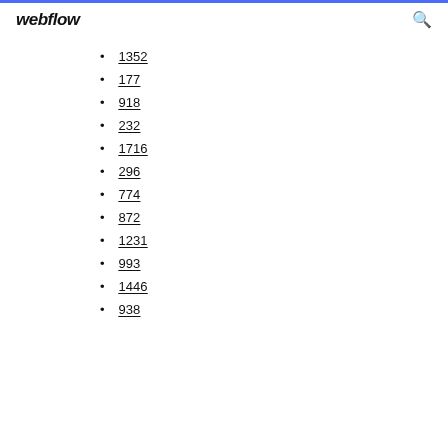webflow
1352
177
918
232
1716
296
774
872
1231
993
1446
938